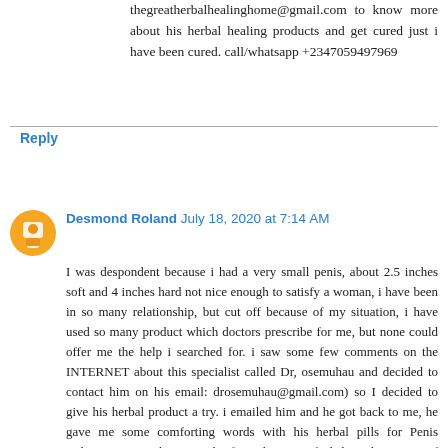thegreatherbalhealinghome@gmail.com to know more about his herbal healing products and get cured just i have been cured. call/whatsapp +2347059497969
Reply
Desmond Roland July 18, 2020 at 7:14 AM
I was despondent because i had a very small penis, about 2.5 inches soft and 4 inches hard not nice enough to satisfy a woman, i have been in so many relationship, but cut off because of my situation, i have used so many product which doctors prescribe for me, but none could offer me the help i searched for. i saw some few comments on the INTERNET about this specialist called Dr, osemuhau and decided to contact him on his email: drosemuhau@gmail.com) so I decided to give his herbal product a try. i emailed him and he got back to me, he gave me some comforting words with his herbal pills for Penis Enlargement, Within 3 week of it, i began to feel the enlargement of my penis, " and now it just 4 weeks of using his products my penis is about 9 inches longer, and i had to settle out with my Ex girlfriend JOY,